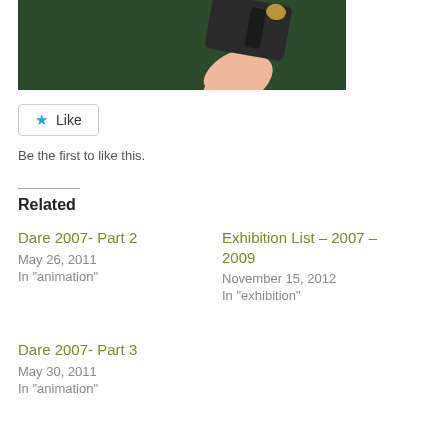[Figure (illustration): Illustration showing a hand holding a dark object (gun) against a dark green background, viewed from above/cropped at top of page.]
[Figure (screenshot): Like button with blue star icon and text 'Like']
Be the first to like this.
Related
Dare 2007- Part 2
May 26, 2011
In "animation"
Exhibition List – 2007 – 2009
November 15, 2012
In "exhibition"
Dare 2007- Part 3
May 30, 2011
In "animation"